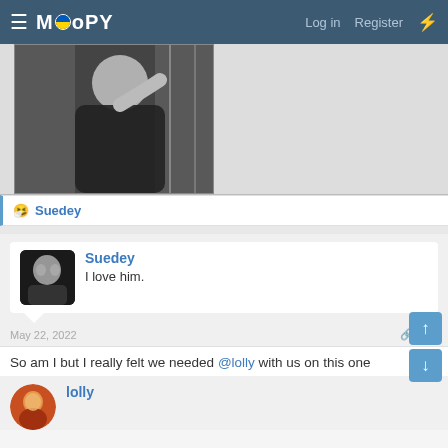MOOPY — Log in   Register
[Figure (photo): Black and white photo of a person in dark clothing, hand raised to head, standing near a door]
🤧 Suedey
Suedey
I love him.
May 22, 2022   #20
So am I but I really felt we needed @lolly with us on this one
lolly